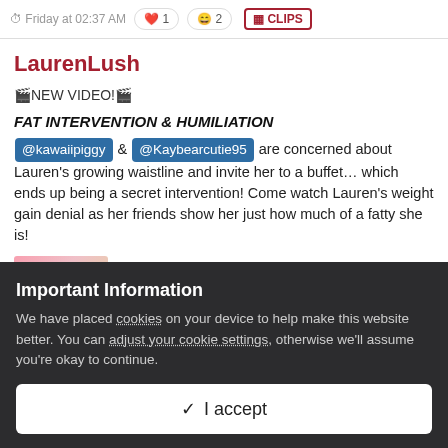Friday at 02:37 AM  1  2  CLIPS
LaurenLush
🎬NEW VIDEO!🎬
FAT INTERVENTION & HUMILIATION
@kawaiipiggy & @Kaybearcutie95 are concerned about Lauren's growing waistline and invite her to a buffet… which ends up being a secret intervention! Come watch Lauren's weight gain denial as her friends show her just how much of a fatty she is!
[Figure (photo): Preview thumbnail of video showing two women]
↓ 1,751  3.25 MB
Important Information
We have placed cookies on your device to help make this website better. You can adjust your cookie settings, otherwise we'll assume you're okay to continue.
✓  I accept